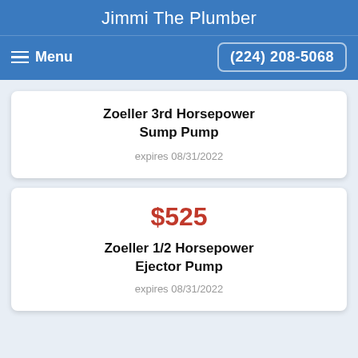Jimmi The Plumber
Menu  (224) 208-5068
Zoeller 3rd Horsepower Sump Pump
expires 08/31/2022
$525
Zoeller 1/2 Horsepower Ejector Pump
expires 08/31/2022